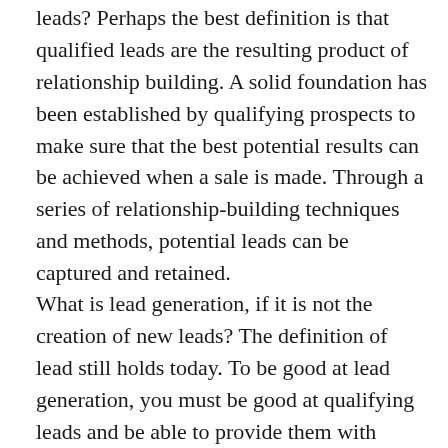leads? Perhaps the best definition is that qualified leads are the resulting product of relationship building. A solid foundation has been established by qualifying prospects to make sure that the best potential results can be achieved when a sale is made. Through a series of relationship-building techniques and methods, potential leads can be captured and retained.
What is lead generation, if it is not the creation of new leads? The definition of lead still holds today. To be good at lead generation, you must be good at qualifying leads and be able to provide them with information that will help them decide whether or not to move forward with a certain purchase. The ability to provide information to qualified prospects is what